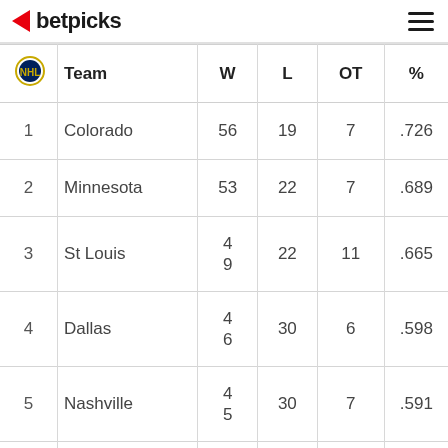betpicks
| # | Team | W | L | OT | % |
| --- | --- | --- | --- | --- | --- |
| 1 | Colorado | 56 | 19 | 7 | .726 |
| 2 | Minnesota | 53 | 22 | 7 | .689 |
| 3 | St Louis | 49 | 22 | 11 | .665 |
| 4 | Dallas | 46 | 30 | 6 | .598 |
| 5 | Nashville | 45 | 30 | 7 | .591 |
| 6 | Winnipeg | 39 | 32 | 11 | .543 |
| 7 | Chicago | 38 | 42 | 12 | .415 |